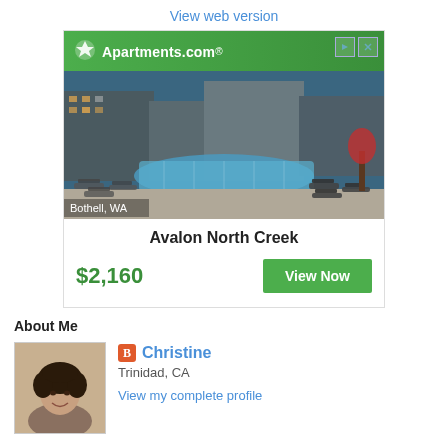View web version
[Figure (screenshot): Apartments.com advertisement banner showing Avalon North Creek apartment complex with a pool area in Bothell, WA. Price $2,160 with a View Now button.]
About Me
[Figure (photo): Profile photo of Christine, a woman with curly dark hair, smiling.]
Christine
Trinidad, CA
View my complete profile
Powered by Blogger.